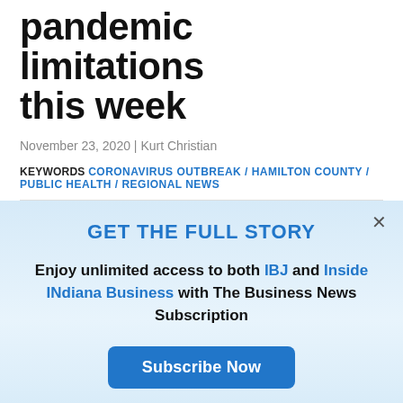pandemic limitations this week
November 23, 2020 | Kurt Christian
KEYWORDS CORONAVIRUS OUTBREAK / HAMILTON COUNTY / PUBLIC HEALTH / REGIONAL NEWS
[Figure (screenshot): Subscription modal overlay with 'GET THE FULL STORY' heading, subscribe button, and log in button on a light blue gradient background]
GET THE FULL STORY
Enjoy unlimited access to both IBJ and Inside INdiana Business with The Business News Subscription
Subscribe Now
Already a paid subscriber?
Log In